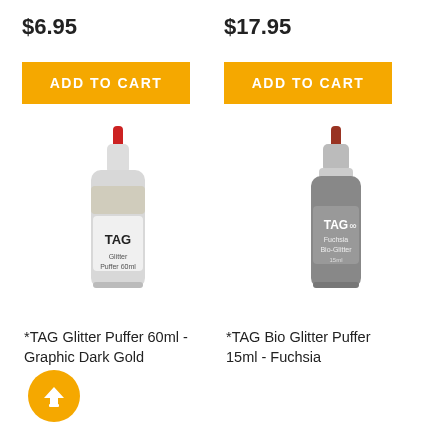$6.95
$17.95
ADD TO CART
ADD TO CART
[Figure (photo): TAG Glitter Puffer 60ml bottle with red tip, silver/dark gold glitter inside, white squeeze bottle body]
[Figure (photo): TAG Bio Glitter Puffer 15ml bottle with red/brown tip, dark grey/fuchsia glitter inside, darker bottle body]
*TAG Glitter Puffer 60ml - Graphic Dark Gold
*TAG Bio Glitter Puffer 15ml - Fuchsia